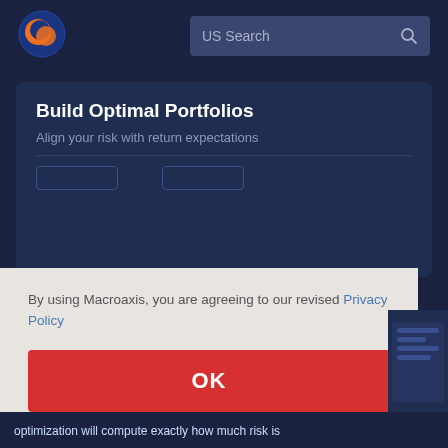[Figure (logo): Macroaxis logo: orange and blue circular globe icon]
US Search
Build Optimal Portfolios
Align your risk with return expectations
By using Macroaxis, you are agreeing to our revised Privacy Policy
OK
optimization will compute exactly how much risk is